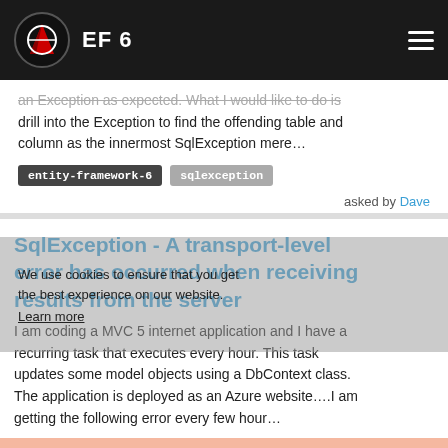EF 6
an Exception as expected. What I would like to do is drill into the Exception to find the offending table and column as the innermost SqlException mere…
entity-framework-6
sqlexception
asked by Dave
SqlException - A transport-level error has occurred when receiving results from the server
I am coding a MVC 5 internet application and I have a recurring task that executes every hour. This task updates some model objects using a DbContext class. The application is deployed as an Azure website….I am getting the following error every few hour…